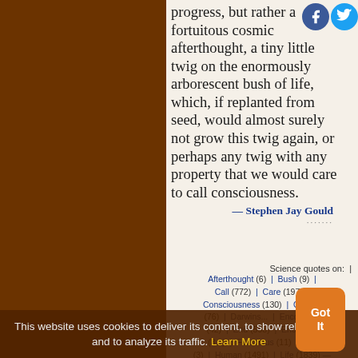progress, but rather a fortuitous cosmic afterthought, a tiny little twig on the enormously arborescent bush of life, which, if replanted from seed, would almost surely not grow this twig again, or perhaps any twig with any property that we would care to call consciousness.
— Stephen Jay Gould
Science quotes on: | Afterthought (6) | Bush (9) | Call (772) | Care (197) | Consciousness (130) | Cosmic | Darwins... | Encourage | End (598) | Enormous... | Follow | ... | Fortuitous (11) | Hard | Human (1491) | Life (1839) — | Little (708) | Message (50)
This website uses cookies to deliver its content, to show relevant ads and to analyze its traffic. Learn More